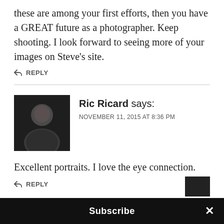these are among your first efforts, then you have a GREAT future as a photographer. Keep shooting. I look forward to seeing more of your images on Steve's site.
↩ REPLY
[Figure (photo): Avatar photo of Ric Ricard — a bald man in dark clothing against a dark background]
Ric Ricard says:
NOVEMBER 11, 2015 AT 8:36 PM
Excellent portraits. I love the eye connection.
↩ REPLY
[Figure (photo): Partial avatar photo of Micheal, cropped at bottom of page]
Micheal says:
Subscribe ×